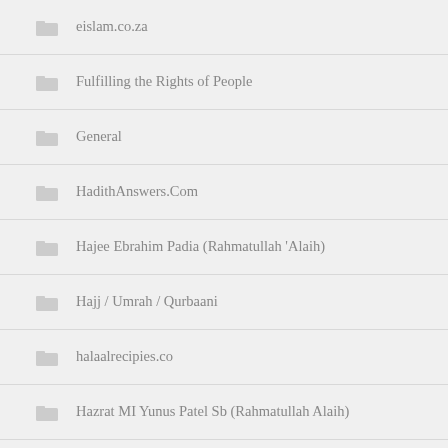eislam.co.za
Fulfilling the Rights of People
General
HadithAnswers.Com
Hajee Ebrahim Padia (Rahmatullah 'Alaih)
Hajj / Umrah / Qurbaani
halaalrecipies.co
Hazrat MI Yunus Patel Sb (Rahmatullah Alaih)
Hazrat Moulana Hakeem Muhammad Akhtar Saab (Rah)